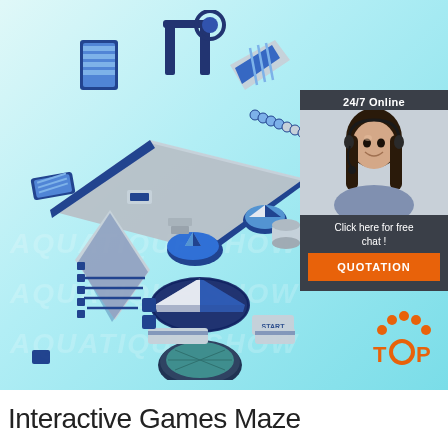[Figure (photo): Inflatable water obstacle course / interactive games maze rendered in 3D, blue and grey/white colors, set against a light cyan/turquoise gradient background. Various inflatable elements including slides, platforms, trampolines, and a spinning top. A 'START' label is visible on one element.]
[Figure (photo): Customer service representative widget: woman with headset smiling, '24/7 Online' label at top, 'Click here for free chat!' text and orange 'QUOTATION' button below, on dark grey background.]
[Figure (logo): TOP logo: orange dots forming an arch above the letters TOP in orange, with a circle replacing the O.]
Interactive Games Maze